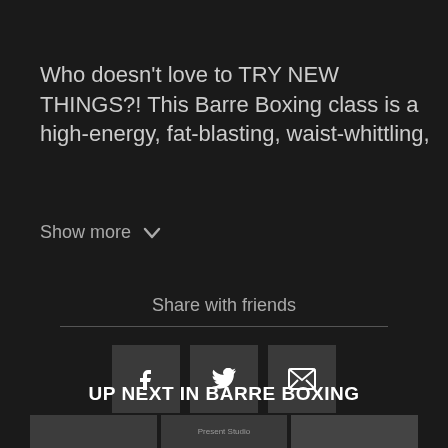Who doesn't love to TRY NEW THINGS?! This Barre Boxing class is a high-energy, fat-blasting, waist-whittling,
Show more
Share with friends
[Figure (infographic): Three share buttons: Facebook (f), Twitter (bird), Email (envelope)]
UP NEXT IN BARRE BOXING
[Figure (photo): Thumbnail strip showing three video thumbnails from Barre Boxing series]